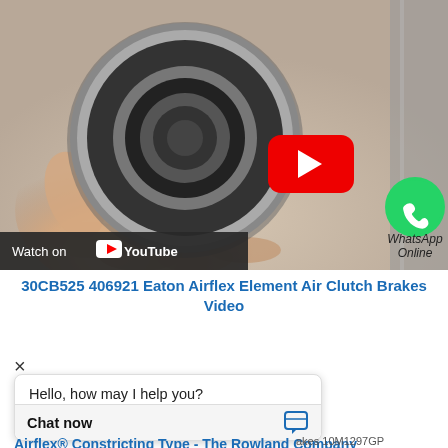[Figure (screenshot): Video thumbnail showing a hand holding a bearing/clutch component, with a YouTube play button overlay and a WhatsApp Online icon in the lower right. A 'Watch on YouTube' bar appears at the bottom of the video frame.]
30CB525 406921 Eaton Airflex Element Air Clutch Brakes Video
×
Hello, how may I help you?
Airflex® Constricting Type - The Rowland Company
Chat now
akes 10M1297GP
4CB525